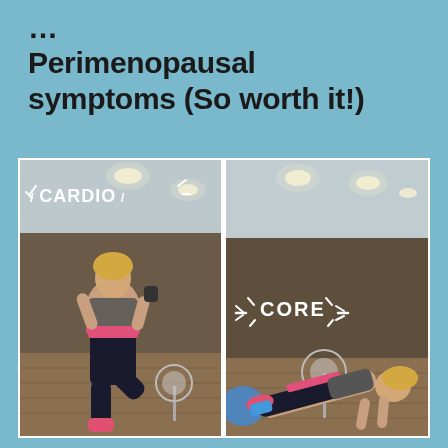…Perimenopausal symptoms (So worth it!)
[Figure (photo): Two side-by-side gym photos. Left photo shows a woman doing a cardio exercise (high knee move) with text overlay 'CARDIO'. Right photo shows a woman doing a core exercise (plank/push-up position) with text overlay 'CORE'.]